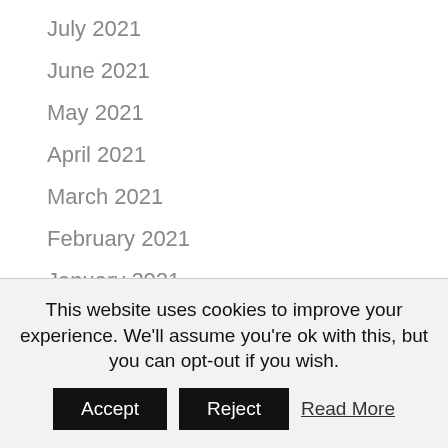July 2021
June 2021
May 2021
April 2021
March 2021
February 2021
January 2021
November 2020
October 2020
September 2020
August 2020
This website uses cookies to improve your experience. We'll assume you're ok with this, but you can opt-out if you wish.
Accept | Reject | Read More